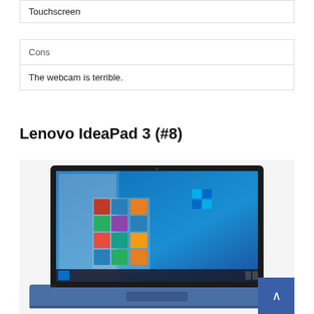Touchscreen
| Cons |
| --- |
| The webcam is terrible. |
Lenovo IdeaPad 3 (#8)
[Figure (photo): Photo of Lenovo IdeaPad 3 laptop showing Windows 10 desktop on screen, blue/abyss color body, viewed from slightly above front angle.]